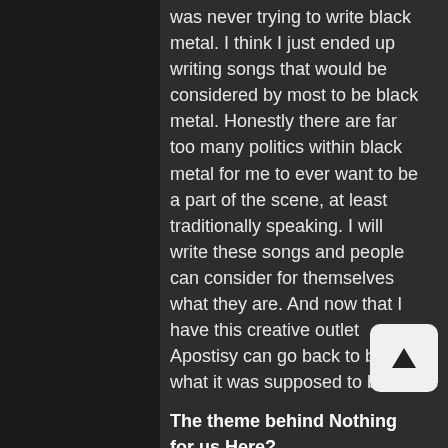was never trying to write black metal. I think I just ended up writing songs that would be considered by most to be black metal. Honestly there are far too many politics within black metal for me to ever want to be a part of the scene, at least traditionally speaking. I will write these songs and people can consider for themselves what they are. And now that I have this creative outlet Apostisy can go back to being what it was supposed to be.
The theme behind Nothing for us Here?
"It's simple really. I feel like there nothing for us here. We are just passing through, and the best thing